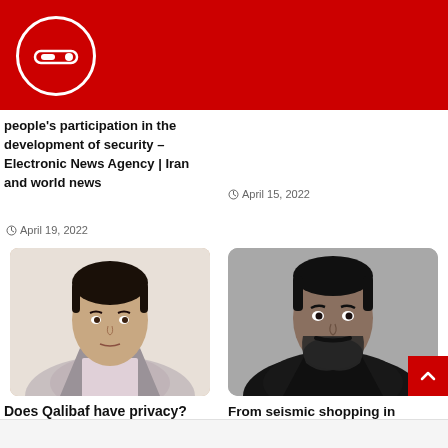Electronic News Agency | Iran and world news
people's participation in the development of security – Electronic News Agency | Iran and world news
April 19, 2022
April 15, 2022
[Figure (photo): Headshot of a man with short dark hair, clean-shaven, wearing a light shirt and grey jacket, light background]
Does Qalibaf have privacy?
April 27, 2022
[Figure (photo): Headshot of a middle-aged man with dark hair and beard, wearing a black shirt, grey background]
From seismic shopping in Istanbul to therapy in London; This is none of your business?
April 24, 2022